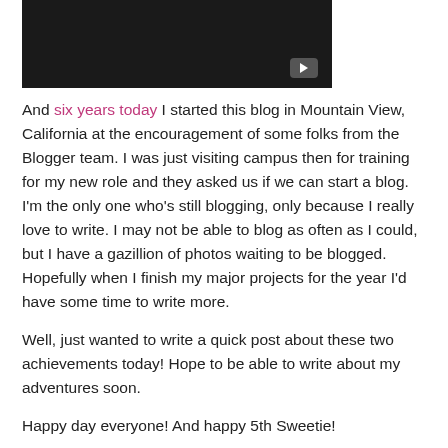[Figure (screenshot): Video thumbnail with dark/black background and a play button icon in the lower right corner]
And six years today I started this blog in Mountain View, California at the encouragement of some folks from the Blogger team. I was just visiting campus then for training for my new role and they asked us if we can start a blog. I'm the only one who's still blogging, only because I really love to write. I may not be able to blog as often as I could, but I have a gazillion of photos waiting to be blogged. Hopefully when I finish my major projects for the year I'd have some time to write more.
Well, just wanted to write a quick post about these two achievements today! Hope to be able to write about my adventures soon.
Happy day everyone! And happy 5th Sweetie!
Aileen Apolo-de Jesus sa 9/29/2012 11:11:00 PM
3 comments: